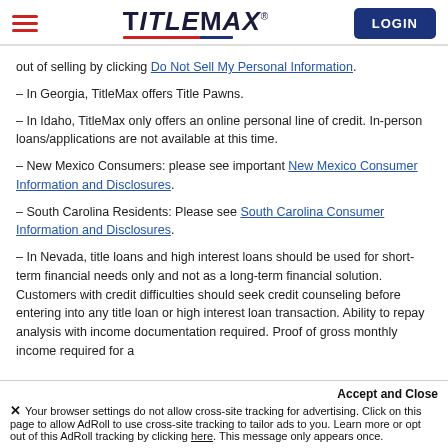TitleMax — LOGIN
out of selling by clicking Do Not Sell My Personal Information.
– In Georgia, TitleMax offers Title Pawns.
– In Idaho, TitleMax only offers an online personal line of credit. In-person loans/applications are not available at this time.
– New Mexico Consumers: please see important New Mexico Consumer Information and Disclosures.
– South Carolina Residents: Please see South Carolina Consumer Information and Disclosures.
– In Nevada, title loans and high interest loans should be used for short-term financial needs only and not as a long-term financial solution. Customers with credit difficulties should seek credit counseling before entering into any title loan or high interest loan transaction. Ability to repay analysis with income documentation required. Proof of gross monthly income required for a
Accept and Close — Your browser settings do not allow cross-site tracking for advertising. Click on this page to allow AdRoll to use cross-site tracking to tailor ads to you. Learn more or opt out of this AdRoll tracking by clicking here. This message only appears once.